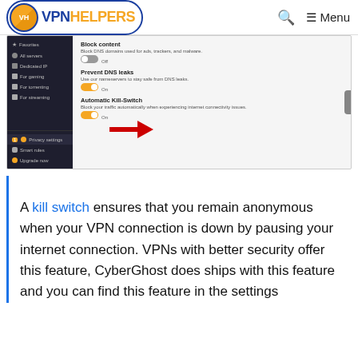VPN HELPERS — Q Menu
[Figure (screenshot): Screenshot of a VPN application settings panel showing Block content (Off), Prevent DNS leaks (On), and Automatic Kill-Switch (On) options, with a red arrow pointing to the Kill-Switch toggle. Left sidebar shows navigation items: Favorites, All servers, Dedicated IP, For gaming, For torrenting, For streaming, Privacy settings, Smart rules, Upgrade now.]
A kill switch ensures that you remain anonymous when your VPN connection is down by pausing your internet connection. VPNs with better security offer this feature, CyberGhost does ships with this feature and you can find this feature in the settings